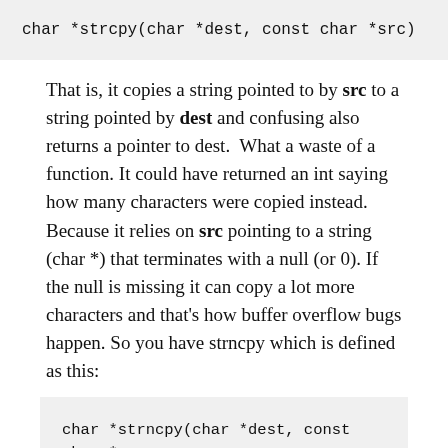[Figure (screenshot): Code block showing: char *strcpy(char *dest, const char *src)]
That is, it copies a string pointed to by src to a string pointed by dest and confusing also returns a pointer to dest.  What a waste of a function. It could have returned an int saying how many characters were copied instead. Because it relies on src pointing to a string (char *) that terminates with a null (or 0). If the null is missing it can copy a lot more characters and that’s how buffer overflow bugs happen. So you have strncpy which is defined as this:
[Figure (screenshot): Code block showing: char *strncpy(char *dest, const char *src,]
The extra parameter is how many characters are to